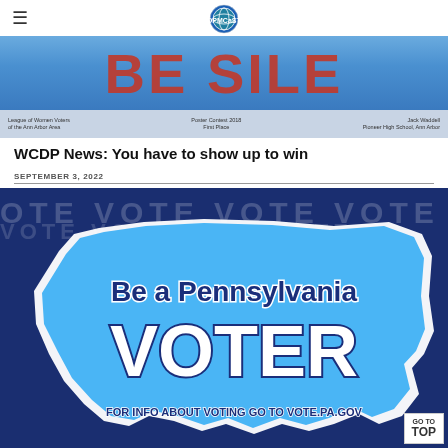DPMCaST logo with hamburger menu
[Figure (photo): Banner image showing 'Don't Be Silent' text in red on blue background, with League of Women Voters Ann Arbor Area poster contest 2018 First Place credit to Jack Waddell, Pioneer High School, Ann Arbor]
WCDP News: You have to show up to win
SEPTEMBER 3, 2022
[Figure (infographic): Pennsylvania voter registration infographic with dark blue background showing repeated VOTE text, light blue Pennsylvania state shape outline containing text 'Be a Pennsylvania VOTER' and 'FOR INFO ABOUT VOTING GO TO VOTE.PA.GOV']